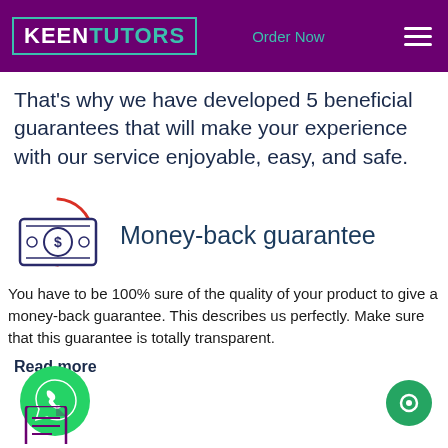KEEN TUTORS — Order Now
That's why we have developed 5 beneficial guarantees that will make your experience with our service enjoyable, easy, and safe.
[Figure (illustration): Money/cash icon with circular red arrows indicating money-back guarantee]
Money-back guarantee
You have to be 100% sure of the quality of your product to give a money-back guarantee. This describes us perfectly. Make sure that this guarantee is totally transparent.
Read more
[Figure (illustration): Green WhatsApp floating button icon]
[Figure (illustration): Green circle button on bottom right]
[Figure (illustration): Document/page icon at bottom left, partially visible]